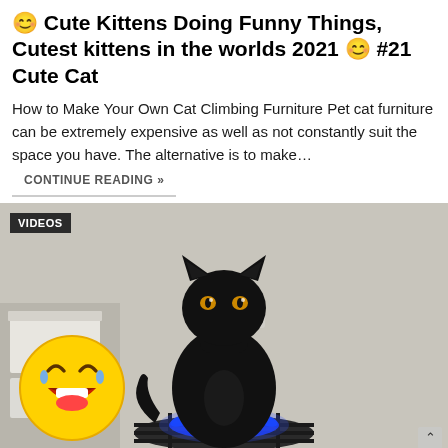😊 Cute Kittens Doing Funny Things, Cutest kittens in the worlds 2021 😊 #21 Cute Cat
How to Make Your Own Cat Climbing Furniture Pet cat furniture can be extremely expensive as well as not constantly suit the space you have. The alternative is to make…
CONTINUE READING »
[Figure (photo): Photo of a black cat sitting on a lit blue gas stove burner in a kitchen. A large laughing-with-tears emoji is overlaid on the lower left. A 'VIDEOS' badge appears in the top-left corner. A scroll-up arrow appears in bottom-right.]